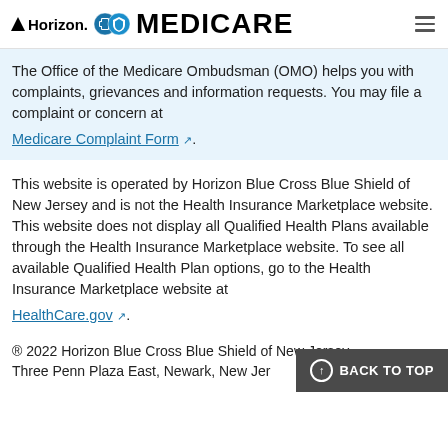Horizon MEDICARE
The Office of the Medicare Ombudsman (OMO) helps you with complaints, grievances and information requests. You may file a complaint or concern at Medicare Complaint Form.
This website is operated by Horizon Blue Cross Blue Shield of New Jersey and is not the Health Insurance Marketplace website. This website does not display all Qualified Health Plans available through the Health Insurance Marketplace website. To see all available Qualified Health Plan options, go to the Health Insurance Marketplace website at HealthCare.gov.
® 2022 Horizon Blue Cross Blue Shield of New Jersey, Three Penn Plaza East, Newark, New Jersey